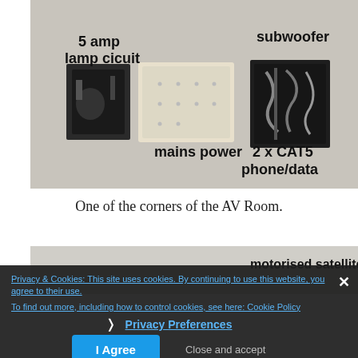[Figure (photo): Photo of wall-mounted electrical/AV cable outlets in a corner, labeled: '5 amp lamp cicuit' (top left), 'subwoofer' (top right), 'mains power' (bottom left), '2 x CAT5 phone/data' (bottom right).]
One of the corners of the AV Room.
[Figure (photo): Partial photo showing top edge with label 'motorised satellite &' visible.]
Privacy & Cookies: This site uses cookies. By continuing to use this website, you agree to their use. To find out more, including how to control cookies, see here: Cookie Policy
❯ Privacy Preferences
I Agree    Close and accept